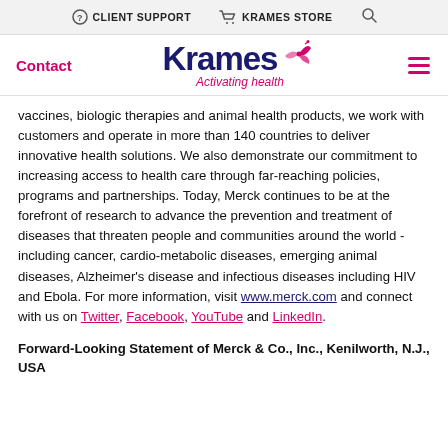CLIENT SUPPORT   KRAMES STORE
[Figure (logo): Krames logo with bird graphic and tagline 'Activating health']
vaccines, biologic therapies and animal health products, we work with customers and operate in more than 140 countries to deliver innovative health solutions. We also demonstrate our commitment to increasing access to health care through far-reaching policies, programs and partnerships. Today, Merck continues to be at the forefront of research to advance the prevention and treatment of diseases that threaten people and communities around the world - including cancer, cardio-metabolic diseases, emerging animal diseases, Alzheimer's disease and infectious diseases including HIV and Ebola. For more information, visit www.merck.com and connect with us on Twitter, Facebook, YouTube and LinkedIn.
Forward-Looking Statement of Merck & Co., Inc., Kenilworth, N.J., USA